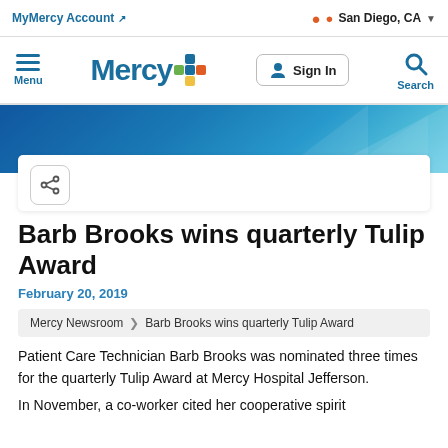MyMercy Account | San Diego, CA
[Figure (logo): Mercy health system logo with colorful cross icon, Sign In button, Menu, and Search in navigation bar]
[Figure (illustration): Blue gradient hero banner background]
Barb Brooks wins quarterly Tulip Award
February 20, 2019
Mercy Newsroom > Barb Brooks wins quarterly Tulip Award
Patient Care Technician Barb Brooks was nominated three times for the quarterly Tulip Award at Mercy Hospital Jefferson.
In November, a co-worker cited her cooperative spirit